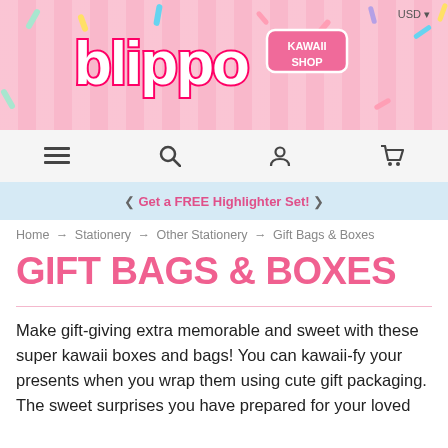[Figure (logo): Blippo Kawaii Shop logo on pink striped banner with colorful confetti sprinkles]
USD
≡  🔍  👤  🛒
❮ Get a FREE Highlighter Set! ❯
Home → Stationery → Other Stationery → Gift Bags & Boxes
GIFT BAGS & BOXES
Make gift-giving extra memorable and sweet with these super kawaii boxes and bags! You can kawaii-fy your presents when you wrap them using cute gift packaging. The sweet surprises you have prepared for your loved